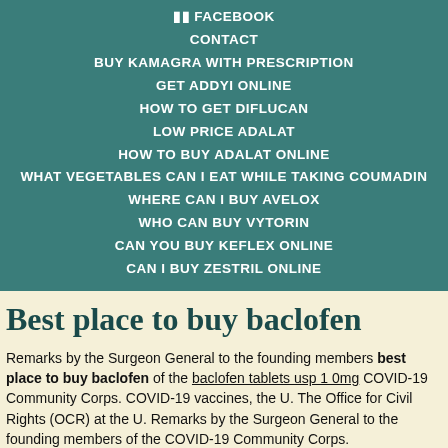FACEBOOK
CONTACT
BUY KAMAGRA WITH PRESCRIPTION
GET ADDYI ONLINE
HOW TO GET DIFLUCAN
LOW PRICE ADALAT
HOW TO BUY ADALAT ONLINE
WHAT VEGETABLES CAN I EAT WHILE TAKING COUMADIN
WHERE CAN I BUY AVELOX
WHO CAN BUY VYTORIN
CAN YOU BUY KEFLEX ONLINE
CAN I BUY ZESTRIL ONLINE
Best place to buy baclofen
Remarks by the Surgeon General to the founding members best place to buy baclofen of the baclofen tablets usp 1 0mg COVID-19 Community Corps. COVID-19 vaccines, the U. The Office for Civil Rights (OCR) at the U. Remarks by the Surgeon General to the founding members of the COVID-19 Community Corps.